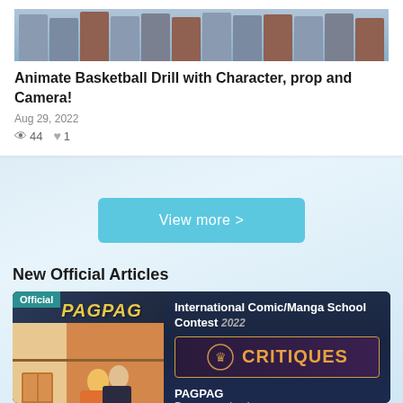[Figure (illustration): Basketball drill animation screenshot showing multiple characters in rows against a gym locker background]
Animate Basketball Drill with Character, prop and Camera!
Aug 29, 2022
👁 44  ♥ 1
View more >
New Official Articles
[Figure (illustration): Article card for International Comic/Manga School Contest 2022 Critiques, featuring PAGPAG manga illustration on the left and contest details on the right. Shows 'Official' badge, 'PAGPAG' sign, manga characters, contest title, CRITIQUES banner with crown emblem, PAGPAG title, and Pen name: kanins]